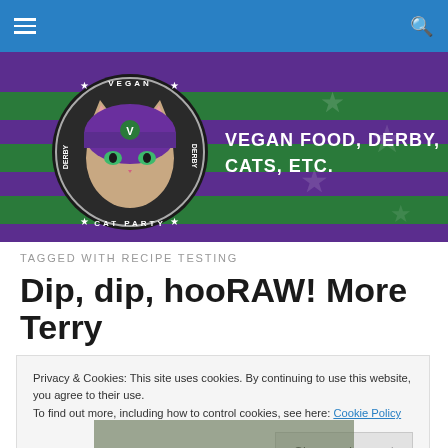Navigation bar with hamburger menu and search icon
[Figure (logo): Vegan Cat Party banner with cat mascot logo wearing purple helmet, text: VEGAN FOOD, DERBY, CATS, ETC. on purple and green striped background]
TAGGED WITH RECIPE TESTING
Dip, dip, hooRAW! More Terry
Privacy & Cookies: This site uses cookies. By continuing to use this website, you agree to their use.
To find out more, including how to control cookies, see here: Cookie Policy
[Close and accept]